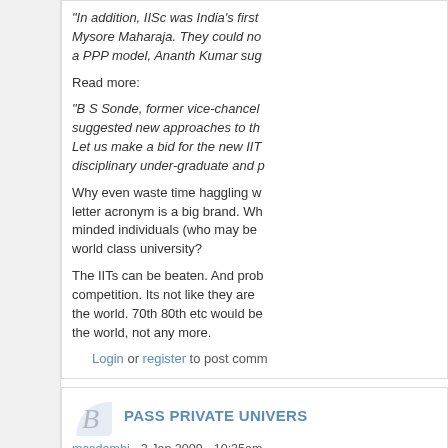"In addition, IISc was India's first Mysore Maharaja. They could no a PPP model, Ananth Kumar sug
Read more:
"B S Sonde, former vice-chancel suggested new approaches to th Let us make a bid for the new IIT disciplinary under-graduate and p
Why even waste time haggling w letter acronym is a big brand. Wh minded individuals (who may be world class university?
The IITs can be beaten. And prob competition. Its not like they are the world. 70th 80th etc would be the world, not any more.
Login or register to post comm
PASS PRIVATE UNIVERS
mcadambi - 2 Jan 2009 - 10:35am